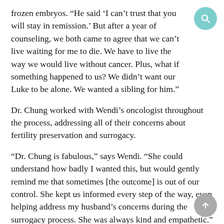frozen embryos. “He said ‘I can’t trust that you will stay in remission.’ But after a year of counseling, we both came to agree that we can’t live waiting for me to die. We have to live the way we would live without cancer. Plus, what if something happened to us? We didn’t want our Luke to be alone. We wanted a sibling for him.”
Dr. Chung worked with Wendi’s oncologist throughout the process, addressing all of their concerns about fertility preservation and surrogacy.
“Dr. Chung is fabulous,” says Wendi. “She could understand how badly I wanted this, but would gently remind me that sometimes [the outcome] is out of our control. She kept us informed every step of the way, even helping address my husband’s concerns during the surrogacy process. She was always kind and empathetic.”
Back in Remission